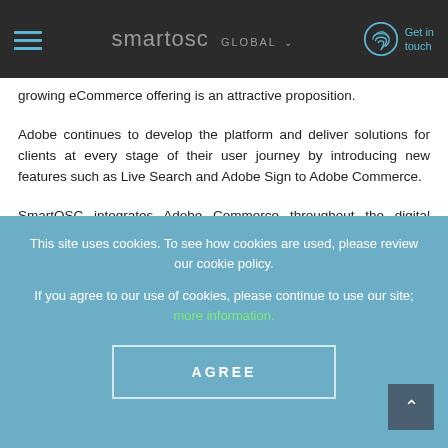smartosc GLOBAL — Get in touch
growing eCommerce offering is an attractive proposition.
Adobe continues to develop the platform and deliver solutions for clients at every stage of their user journey by introducing new features such as Live Search and Adobe Sign to Adobe Commerce.
SmartOSC integrates Adobe Commerce throughout the digital ecosystem to increase conversion, reach new consumers, introduce
This site uses cookies. To see how cookies are used, please review our cookie policy.
If you agree to our use of cookies, please continue to use our site; more information.
AGREE